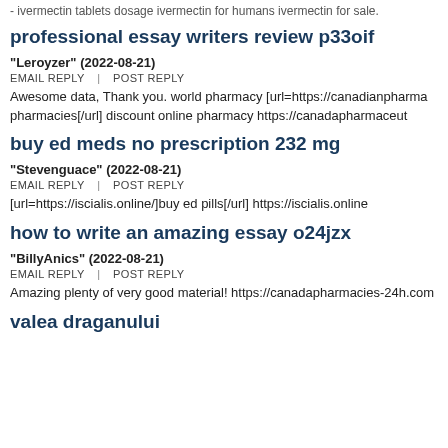- ivermectin tablets dosage ivermectin for humans ivermectin for sale.
professional essay writers review p33oif
"Leroyzer" (2022-08-21)
EMAIL REPLY | POST REPLY
Awesome data, Thank you. world pharmacy [url=https://canadianpharma... pharmacies[/url] discount online pharmacy https://canadapharmaceut...
buy ed meds no prescription 232 mg
"Stevenguace" (2022-08-21)
EMAIL REPLY | POST REPLY
[url=https://iscialis.online/]buy ed pills[/url] https://iscialis.online
how to write an amazing essay o24jzx
"BillyAnics" (2022-08-21)
EMAIL REPLY | POST REPLY
Amazing plenty of very good material! https://canadapharmacies-24h.com...
valea draganului